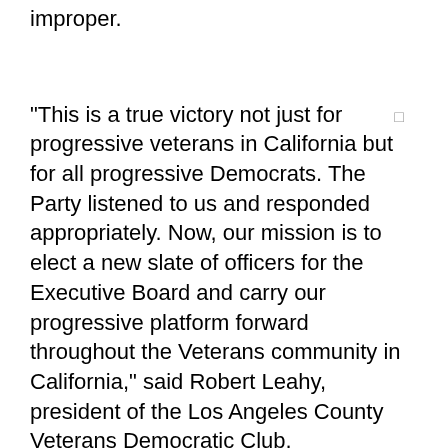improper.
"This is a true victory not just for progressive veterans in California but for all progressive Democrats. The Party listened to us and responded appropriately. Now, our mission is to elect a new slate of officers for the Executive Board and carry our progressive platform forward throughout the Veterans community in California," said Robert Leahy, president of the Los Angeles County Veterans Democratic Club.
Mr. Leahy was joined by officers from all the California Democratic Party Veterans Clubs in the state, and veterans from Sacramento, San Diego, Los Angeles, San Bernardino, Riverside, Siskiyou, Alameda, Contra Costa and Orange counties.
"The former Veterans Caucus Officers -- who have all now resigned their positions -- did not have the right to forfeit their own...